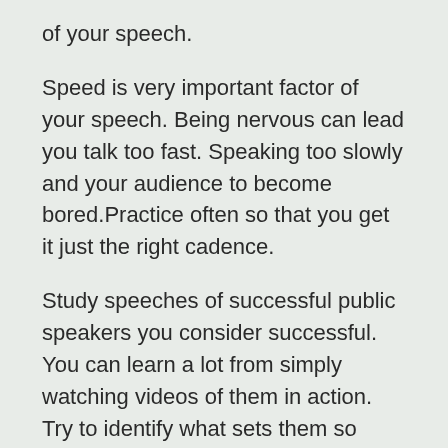of your speech.
Speed is very important factor of your speech. Being nervous can lead you talk too fast. Speaking too slowly and your audience to become bored.Practice often so that you get it just the right cadence.
Study speeches of successful public speakers you consider successful. You can learn a lot from simply watching videos of them in action. Try to identify what sets them so compelling. Watch for quirks and study their habits too. Learn about their methods to become a better speaker.
Memorize the most important parts of your speech. You don't have to memorize everything, but you should at least have the essential parts memorized